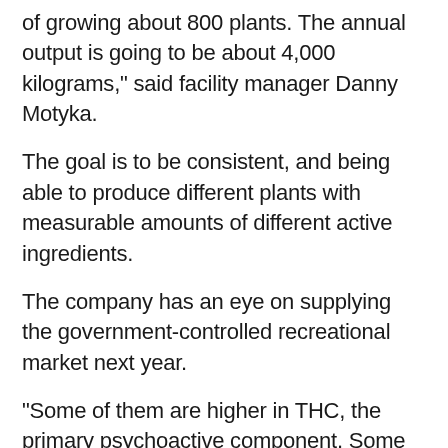of growing about 800 plants. The annual output is going to be about 4,000 kilograms," said facility manager Danny Motyka.
The goal is to be consistent, and being able to produce different plants with measurable amounts of different active ingredients.
The company has an eye on supplying the government-controlled recreational market next year.
"Some of them are higher in THC, the primary psychoactive component. Some of them have virtually no THC and are high in another cannabinoid known as CBD or cannabidiol which patients use for pain relief and anti-inflammation. All of thes products are currently of use in the medical market. They will also currently be in demand in the consumer market," said Battley.
Health Canada has said that companies which currently